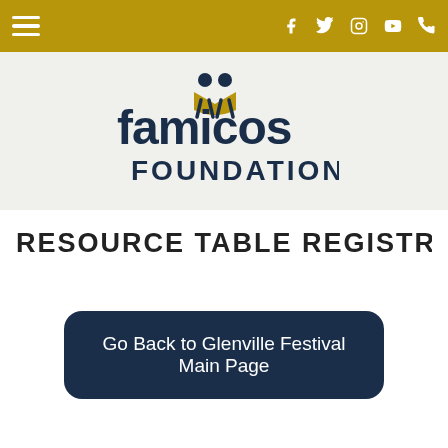Famicos Foundation navigation bar with hamburger menu and social icons
[Figure (logo): Famicos Foundation logo - stylized text 'famicos' with two figure icons above the letter 'm' and a book/open shape integrated, with 'FOUNDATION' below in bold caps, dark navy color with gold accent]
RESOURCE TABLE REGISTRA
Go Back to Glenville Festival Main Page